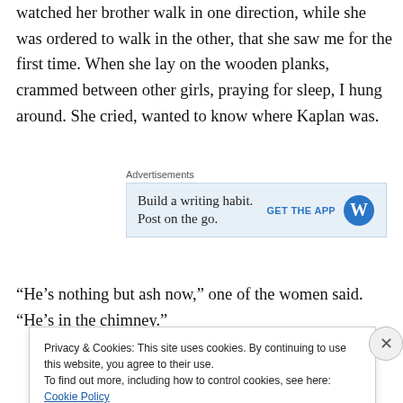watched her brother walk in one direction, while she was ordered to walk in the other, that she saw me for the first time. When she lay on the wooden planks, crammed between other girls, praying for sleep, I hung around. She cried, wanted to know where Kaplan was.
[Figure (screenshot): Advertisement for WordPress app: 'Build a writing habit. Post on the go.' with GET THE APP button and WordPress logo]
“He’s nothing but ash now,” one of the women said. “He’s in the chimney.”
Privacy & Cookies: This site uses cookies. By continuing to use this website, you agree to their use.
To find out more, including how to control cookies, see here: Cookie Policy